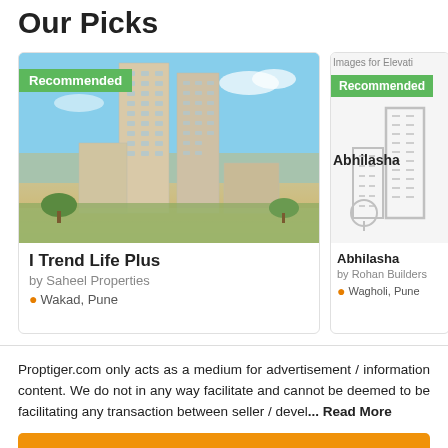Our Picks
[Figure (photo): I Trend Life Plus property image - high-rise apartment building with blue sky background. Badge: Recommended]
I Trend Life Plus
by Saheel Properties
Wakad, Pune
[Figure (illustration): Abhilasha property placeholder image with building icon. Badge: Recommended. Text: Images for Elevati Abhilasha]
Abhilasha
by Rohan Builders
Wagholi, Pune
Proptiger.com only acts as a medium for advertisement / information content. We do not in any way facilitate and cannot be deemed to be facilitating any transaction between seller / devel... Read More
Okay, Got It